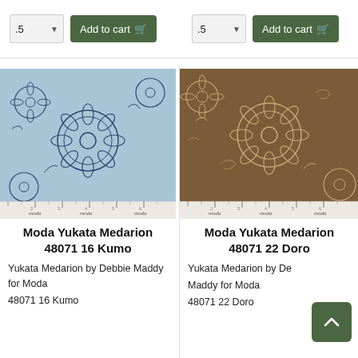[Figure (screenshot): Add to cart controls: quantity dropdown (.5) and green Add to cart button with cart icon, shown twice side by side at top of page]
[Figure (photo): Blue floral fabric - Moda Yukata Medarion 48071 16 Kumo - light blue background with dark navy large chrysanthemum/flower print and Moda ruler at bottom]
[Figure (photo): Brown floral fabric - Moda Yukata Medarion 48071 22 Doro - dark brown background with tan/cream large chrysanthemum/flower print and Moda ruler at bottom]
Moda Yukata Medarion 48071 16 Kumo
Moda Yukata Medarion 48071 22 Doro
Yukata Medarion by Debbie Maddy for Moda
48071 16 Kumo
Yukata Medarion by Debbie Maddy for Moda
48071 22 Doro